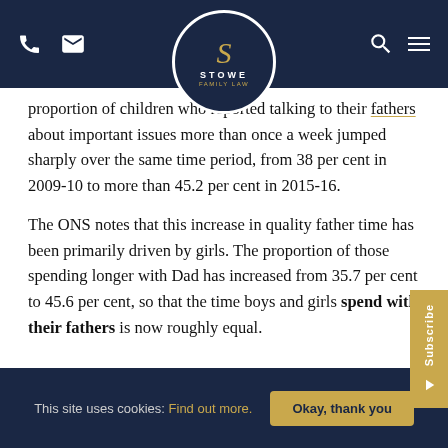Stowe Family Law — navigation bar with logo
proportion of children who reported talking to their fathers about important issues more than once a week jumped sharply over the same time period, from 38 per cent in 2009-10 to more than 45.2 per cent in 2015-16.
The ONS notes that this increase in quality father time has been primarily driven by girls. The proportion of those spending longer with Dad has increased from 35.7 per cent to 45.6 per cent, so that the time boys and girls spend with their fathers is now roughly equal.
This site uses cookies: Find out more. Okay, thank you